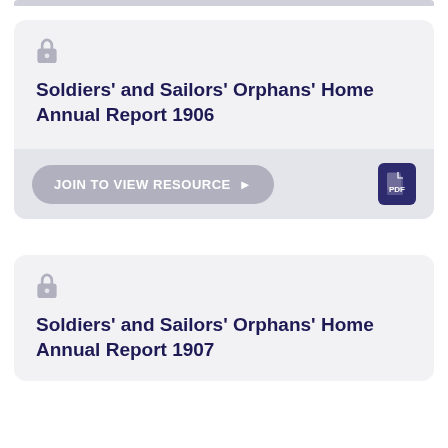Soldiers' and Sailors' Orphans' Home Annual Report 1906
JOIN TO VIEW RESOURCE ▶
Soldiers' and Sailors' Orphans' Home Annual Report 1907